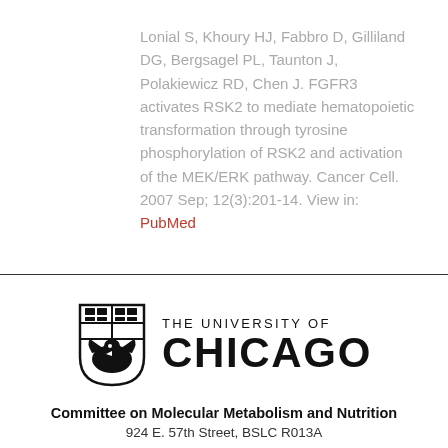Lonial S, Khoury HJ, Fabbro D, Gilliland DG, Bergsagel PL, Taunton J, Polakiewicz RD, Chen J. FGFR3 activates RSK2 to mediate hematopoietic transformation through tyrosine phosphorylation of RSK2 and activation of the MEK/ERK pathway. Cancer Cell. 2007 Sep; 12(3):201-14. View in: PubMed
[Figure (logo): University of Chicago shield logo with THE UNIVERSITY OF CHICAGO text]
Committee on Molecular Metabolism and Nutrition
924 E. 57th Street, BSLC R013A